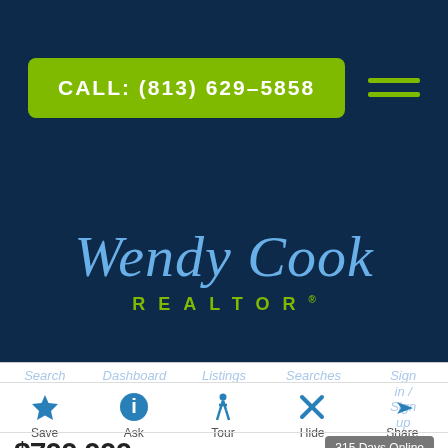CALL: (813) 629-5858
[Figure (logo): Wendy Cook REALTOR logo with cursive script and green text]
Search  Dashboard  Listings  Searches  Sign in / Sign up
Save  Ask  Tour  Hide  Share
$700,000
315 Days Online